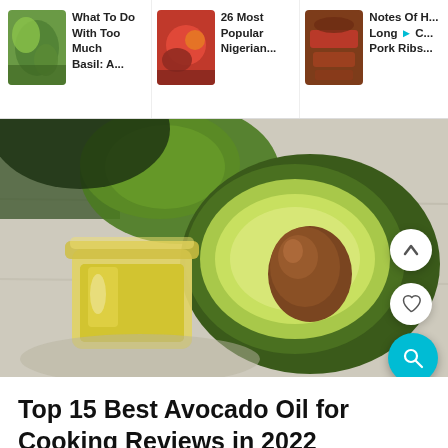What To Do With Too Much Basil: A...
26 Most Popular Nigerian...
Notes Of H... Long > C... Pork Ribs...
[Figure (photo): Avocado cut in half showing pit alongside a glass jar of avocado oil on a cloth background]
Top 15 Best Avocado Oil for Cooking Reviews in 2022